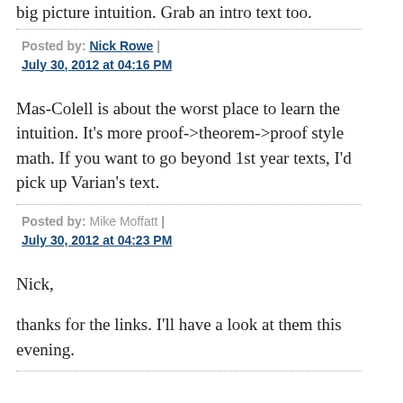big picture intuition. Grab an intro text too.
Posted by: Nick Rowe | July 30, 2012 at 04:16 PM
Mas-Colell is about the worst place to learn the intuition. It's more proof->theorem->proof style math. If you want to go beyond 1st year texts, I'd pick up Varian's text.
Posted by: Mike Moffatt | July 30, 2012 at 04:23 PM
Nick,
thanks for the links. I'll have a look at them this evening.